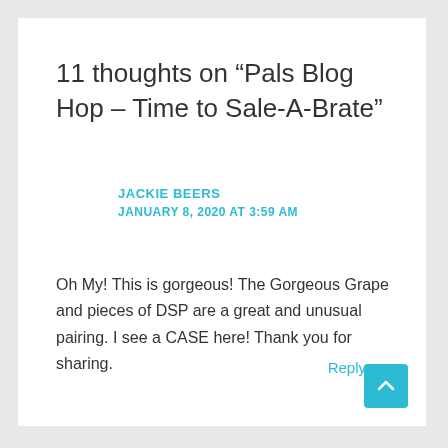11 thoughts on “Pals Blog Hop – Time to Sale-A-Brate”
JACKIE BEERS
JANUARY 8, 2020 AT 3:59 AM
Oh My! This is gorgeous! The Gorgeous Grape and pieces of DSP are a great and unusual pairing. I see a CASE here! Thank you for sharing.
Reply